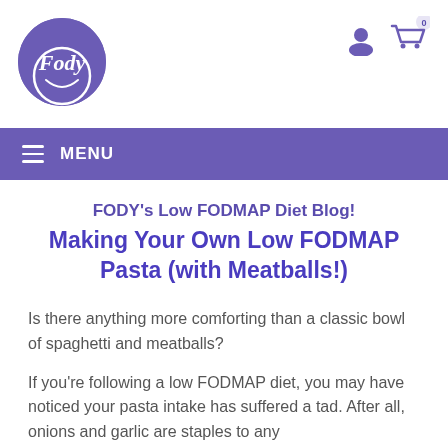Fody logo with user and cart icons, MENU navigation bar
FODY's Low FODMAP Diet Blog!
Making Your Own Low FODMAP Pasta (with Meatballs!)
Is there anything more comforting than a classic bowl of spaghetti and meatballs?
If you're following a low FODMAP diet, you may have noticed your pasta intake has suffered a tad. After all, onions and garlic are staples to any